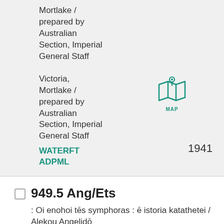Mortlake / prepared by Australian Section, Imperial General Staff
Victoria, Mortlake / prepared by Australian Section, Imperial General Staff
[Figure (illustration): Teal map/location pin icon with text MAP below it]
WATERFT
ADPML
1941
949.5 Ang/Ets
: Oi enohoi tēs symphoras : ē istoria katathetei / Alekou Angelidō